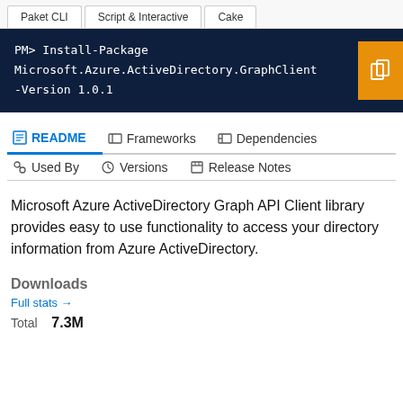Paket CLI	Script & Interactive	Cake
PM> Install-Package Microsoft.Azure.ActiveDirectory.GraphClient -Version 1.0.1
README	Frameworks	Dependencies	Used By	Versions	Release Notes
Microsoft Azure ActiveDirectory Graph API Client library provides easy to use functionality to access your directory information from Azure ActiveDirectory.
Downloads
Full stats →
Total   7.3M